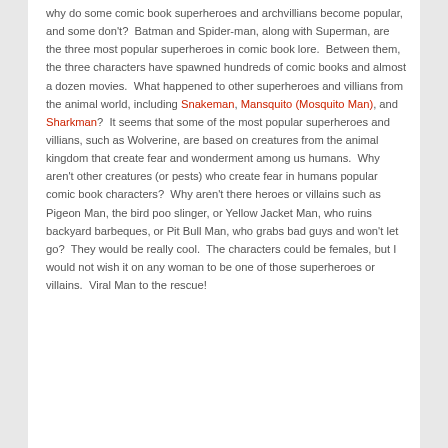why do some comic book superheroes and archvillians become popular, and some don't?  Batman and Spider-man, along with Superman, are the three most popular superheroes in comic book lore.  Between them, the three characters have spawned hundreds of comic books and almost a dozen movies.  What happened to other superheroes and villians from the animal world, including Snakeman, Mansquito (Mosquito Man), and Sharkman?  It seems that some of the most popular superheroes and villians, such as Wolverine, are based on creatures from the animal kingdom that create fear and wonderment among us humans.  Why aren't other creatures (or pests) who create fear in humans popular comic book characters?  Why aren't there heroes or villains such as Pigeon Man, the bird poo slinger, or Yellow Jacket Man, who ruins backyard barbeques, or Pit Bull Man, who grabs bad guys and won't let go?  They would be really cool.  The characters could be females, but I would not wish it on any woman to be one of those superheroes or villains.  Viral Man to the rescue!